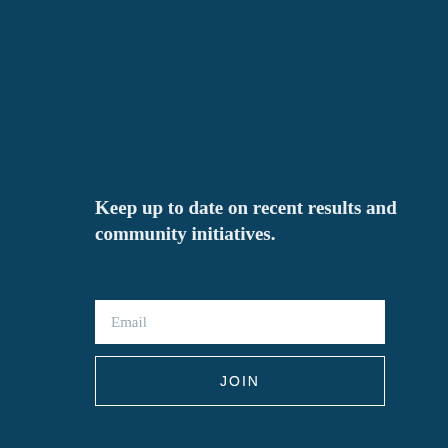Keep up to date on recent results and community initiatives.
Email
JOIN